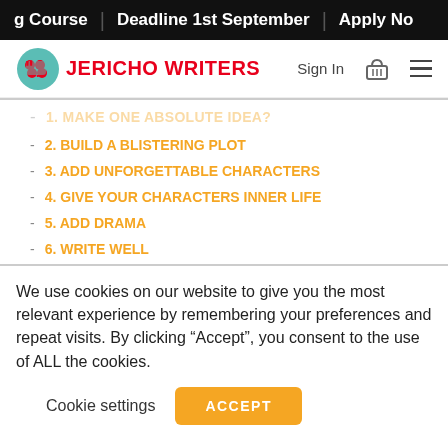g Course | Deadline 1st September | Apply No
[Figure (logo): Jericho Writers logo with teal speech bubble icon and red text JERICHO WRITERS, with Sign In, basket, and hamburger menu on the right]
1. MAKE ONE ABSOLUTE IDEA
2. BUILD A BLISTERING PLOT
3. ADD UNFORGETTABLE CHARACTERS
4. GIVE YOUR CHARACTERS INNER LIFE
5. ADD DRAMA
6. WRITE WELL
We use cookies on our website to give you the most relevant experience by remembering your preferences and repeat visits. By clicking “Accept”, you consent to the use of ALL the cookies.
Cookie settings    ACCEPT